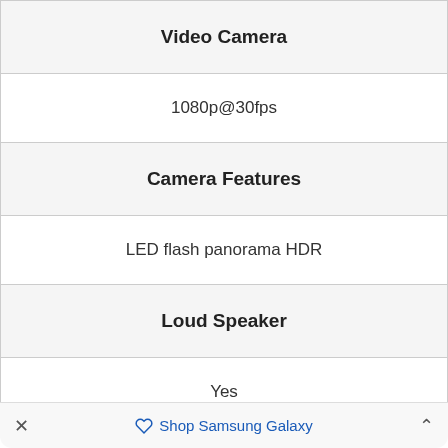| Video Camera |
| 1080p@30fps |
| Camera Features |
| LED flash panorama HDR |
| Loud Speaker |
| Yes |
| Audio Jack |
| Yes |
| WLAN |
× Shop Samsung Galaxy ^